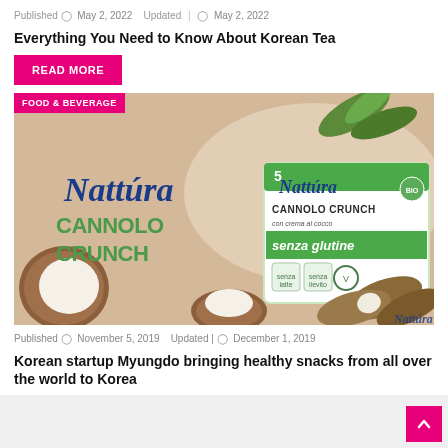Published  May 2, 2022   Updated |  May 2, 2022
Everything You Need to Know About Korean Tea
READ MORE
[Figure (photo): Nattura Cannolo Crunch product advertisement with coconut imagery and product packaging. Features 'senza glutine' (gluten free), 'senza latte' (dairy free), 'senza lievito' labeling. Shows cannolo snack bars with coconut cream filling.]
Published  November 5, 2019   Updated |  December 1, 2019
Korean startup Myungdo bringing healthy snacks from all over the world to Korea